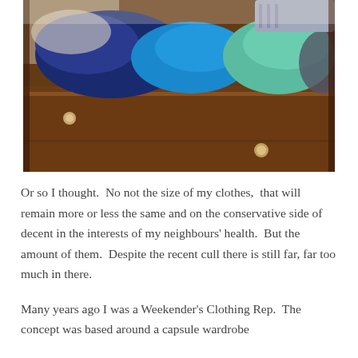[Figure (photo): An open wooden dresser drawer filled with folded and piled clothes in various colors including blue, teal/green, and dark shades, viewed from above at an angle on a wooden floor.]
Or so I thought.  No not the size of my clothes,  that will remain more or less the same and on the conservative side of decent in the interests of my neighbours' health.  But the amount of them.  Despite the recent cull there is still far, far too much in there.
Many years ago I was a Weekender's Clothing Rep.  The concept was based around a capsule wardrobe